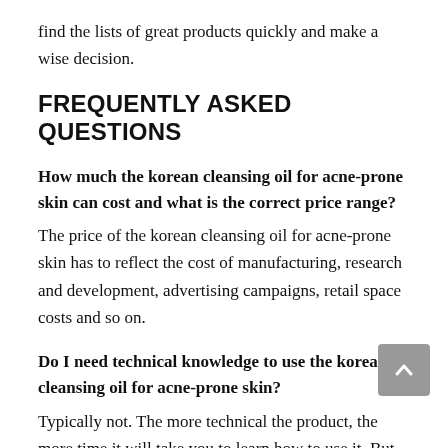find the lists of great products quickly and make a wise decision.
FREQUENTLY ASKED QUESTIONS
How much the korean cleansing oil for acne-prone skin can cost and what is the correct price range?
The price of the korean cleansing oil for acne-prone skin has to reflect the cost of manufacturing, research and development, advertising campaigns, retail space costs and so on.
Do I need technical knowledge to use the korean cleansing oil for acne-prone skin?
Typically not. The more technical the product, the more time it will take you to learn how to use it. But